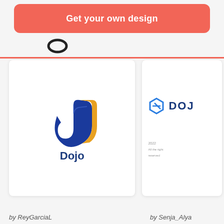[Figure (other): Red/coral rounded button banner reading 'Get your own design' in white bold text]
[Figure (logo): Dojo logo card: stylized J letter in blue and orange/gold, with 'Dojo' text beneath in dark blue]
by ReyGarciaL
[Figure (logo): Dojo logo card: hexagon icon in blue with 'DOJO' text in dark blue, with year 2022 and small text below, partially cropped]
by Senja_Alya